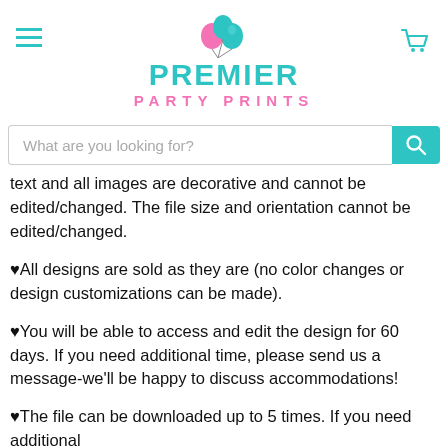[Figure (logo): Premier Party Prints logo with teal and pink balloons, teal PREMIER text, pink PARTY PRINTS text]
What are you looking for?
text and all images are decorative and cannot be edited/changed. The file size and orientation cannot be edited/changed.
♥All designs are sold as they are (no color changes or design customizations can be made).
♥You will be able to access and edit the design for 60 days. If you need additional time, please send us a message-we'll be happy to discuss accommodations!
♥The file can be downloaded up to 5 times. If you need additional